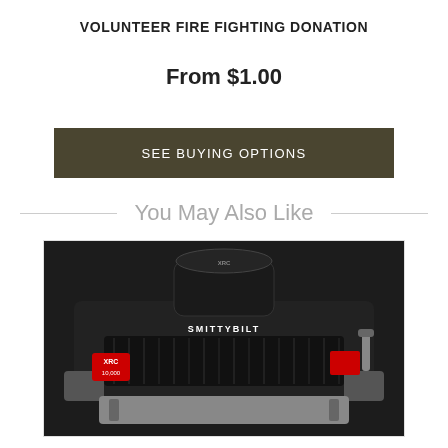VOLUNTEER FIRE FIGHTING DONATION
From $1.00
SEE BUYING OPTIONS
You May Also Like
[Figure (photo): A Smittybilt XRC 10,000 lb winch with synthetic rope, black housing, shown from front angle]